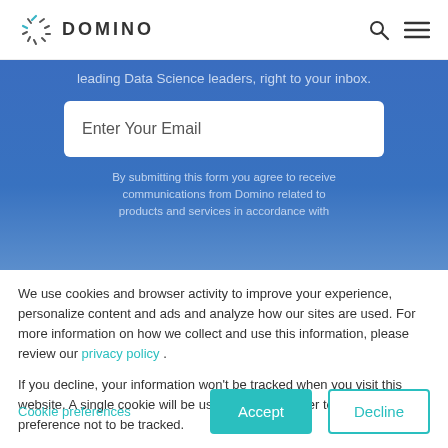[Figure (logo): Domino Data Lab logo with circular leaf/arrow icon and text DOMINO]
leading Data Science leaders, right to your inbox.
Enter Your Email
By submitting this form you agree to receive communications from Domino related to products and services in accordance with
We use cookies and browser activity to improve your experience, personalize content and ads and analyze how our sites are used. For more information on how we collect and use this information, please review our privacy policy .
If you decline, your information won't be tracked when you visit this website. A single cookie will be used in your browser to remember your preference not to be tracked.
Cookie preferences
Accept
Decline